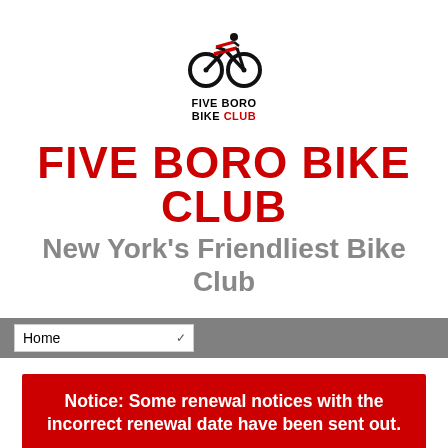[Figure (logo): Five Boro Bike Club logo: bicycle icon with rider silhouette in black and red, with text FIVE BORO BIKE CLUB below]
FIVE BORO BIKE CLUB
New York's Friendliest Bike Club
Home
Notice: Some renewal notices with the incorrect renewal date have been sent out.

We are looking into this. Please ignore if you have already